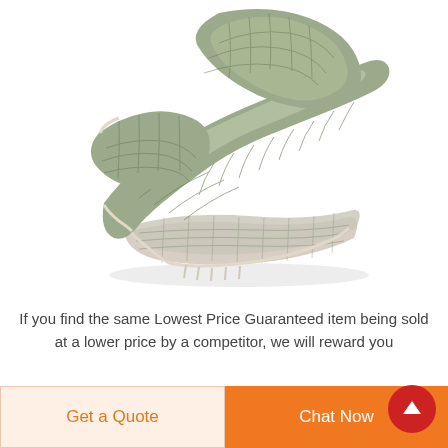[Figure (photo): A loosely draped green/grey mesh net scarf with beige/cream bordered edges, shown on a white background. The scarf is bunched and folded, showing its open weave texture.]
If you find the same Lowest Price Guaranteed item being sold at a lower price by a competitor, we will reward you
Get a Quote
Chat Now